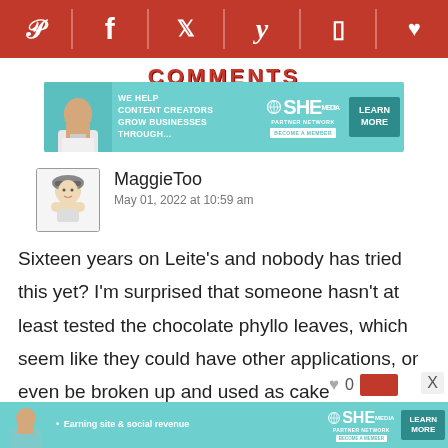[Figure (infographic): Social media sharing bar with Pinterest, Facebook, Twitter, Yummly, Flipboard, and heart/save icons on dark red background]
COMMENTS
[Figure (infographic): SHE Media partner network advertisement banner: We help content creators grow businesses through... Learn More]
MaggieToo
May 01, 2022 at 10:59 am
Sixteen years on Leite's and nobody has tried this yet? I'm surprised that someone hasn't at least tested the chocolate phyllo leaves, which seem like they could have other applications, or even be broken up and used as cake decorations.
[Figure (infographic): SHE Media partner network advertisement banner bottom: Earning site & social revenue. Learn More]